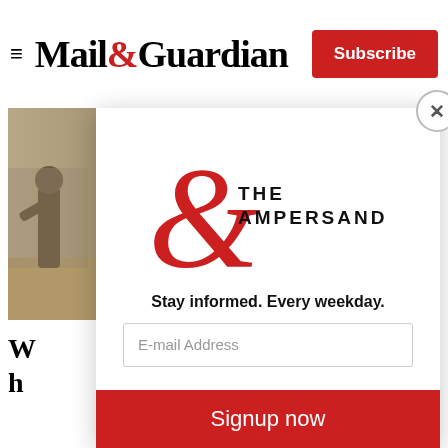Mail&Guardian | Subscribe
[Figure (photo): Street scene photo showing people in an outdoor urban area, likely in Africa]
W... h...
[Figure (logo): The Ampersand newsletter logo — large red ampersand with 'THE AMPERSAND' text]
Stay informed. Every weekday.
E-mail Address
Signup now